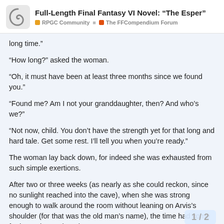Full-Length Final Fantasy VI Novel: “The Esper” | RPGC Community ■ The FFCompendium Forum
long time.”
“How long?” asked the woman.
“Oh, it must have been at least three months since we found you.”
“Found me? Am I not your granddaughter, then? And who’s we?”
“Not now, child. You don’t have the strength yet for that long and hard tale. Get some rest. I’ll tell you when you’re ready.”
The woman lay back down, for indeed she was exhausted from such simple exertions.
After two or three weeks (as nearly as she could reckon, since no sunlight reached into the cave), when she was strong enough to walk around the room without leaning on Arvis’s shoulder (for that was the old man’s name), the time had come for her to learn about herse